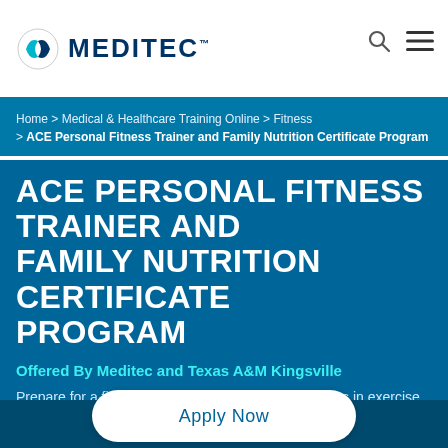MEDITEC logo and navigation header
Home > Medical & Healthcare Training Online > Fitness > ACE Personal Fitness Trainer and Family Nutrition Certificate Program
ACE PERSONAL FITNESS TRAINER AND FAMILY NUTRITION CERTIFICATE PROGRAM
Offered By Meditec and Texas A&M Kingsville
Prepare for a fitness career with college-level courses in exercise science, business concepts, training techniques, and family nutrition. Get started today!
Apply Now